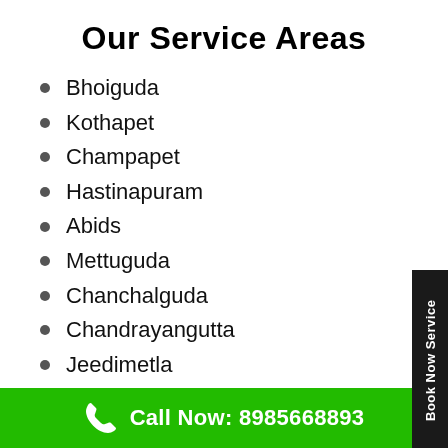Our Service Areas
Bhoiguda
Kothapet
Champapet
Hastinapuram
Abids
Mettuguda
Chanchalguda
Chandrayangutta
Jeedimetla
Pathar Gatti
Ameenpur
Meghalpura
Call Now: 8985668893